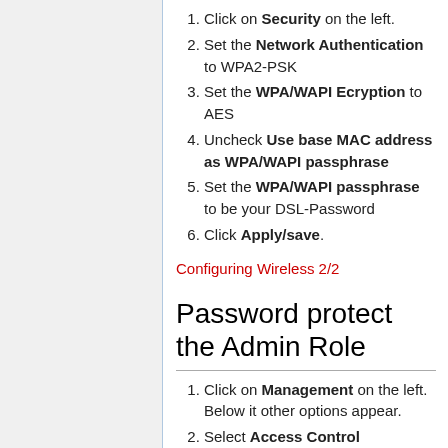1. Click on Security on the left.
2. Set the Network Authentication to WPA2-PSK
3. Set the WPA/WAPI Ecryption to AES
4. Uncheck Use base MAC address as WPA/WAPI passphrase
5. Set the WPA/WAPI passphrase to be your DSL-Password
6. Click Apply/save.
Configuring Wireless 2/2
Password protect the Admin Role
1. Click on Management on the left. Below it other options appear.
2. Select Access Control